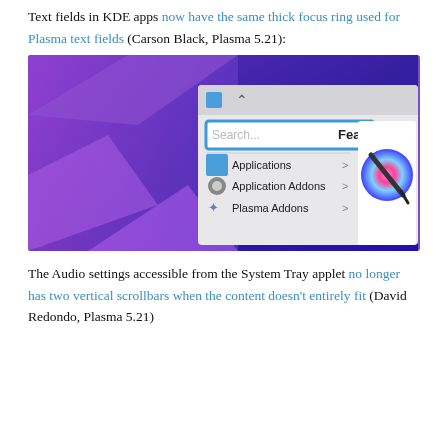Text fields in KDE apps now have the same thick focus ring used for Plasma text fields (Carson Black, Plasma 5.21):
[Figure (screenshot): Screenshot of a KDE Discover app window showing a search field with a thick blue focus ring, menu items: Applications, Application Addons, Plasma Addons, and a Featured section with a Krita-like icon partially visible on a purple/blue gradient background.]
The Audio settings accessible from the System Tray applet no longer has two vertical scrollbars when the content doesn't entirely fit (David Redondo, Plasma 5.21)